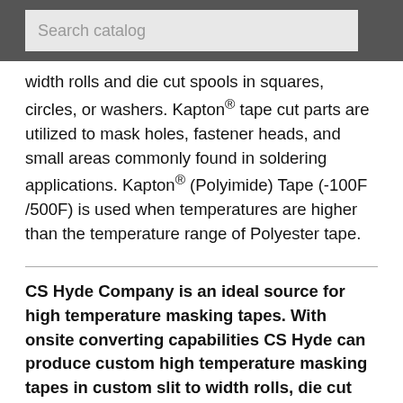Search catalog
width rolls and die cut spools in squares, circles, or washers. Kapton® tape cut parts are utilized to mask holes, fastener heads, and small areas commonly found in soldering applications. Kapton® (Polyimide) Tape (-100F /500F) is used when temperatures are higher than the temperature range of Polyester tape.
CS Hyde Company is an ideal source for high temperature masking tapes. With onsite converting capabilities CS Hyde can produce custom high temperature masking tapes in custom slit to width rolls, die cut shapes, or sheets.
Request Samples